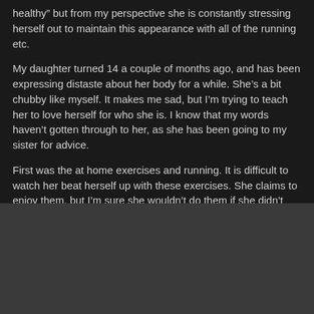healthy" but from my perspective she is constantly stressing herself out to maintain this appearance with all of the running etc.
My daughter turned 14 a couple of months ago, and has been expressing distaste about her body for a while. She’s a bit chubby like myself. It makes me sad, but I’m trying to teach her to love herself for who she is. I know that my words haven’t gotten through to her, as she has been going to my sister for advice.
First was the at home exercises and running. It is difficult to watch her beat herself up with these exercises. She claims to enjoy them, but I’m sure she wouldn’t do them if she didn’t want to be skinny like my sister. Then she started regularly complaining about the food that I prepare. I’m not a huge vegetable person, and neither is anybody else in our family. I’m not going to waste money on it. It has led to many arguments between us.